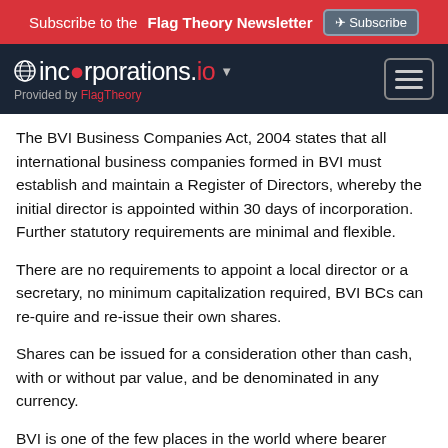Subscribe to the Flag Theory Newsletter  Subscribe
incorporations.io  Provided by FlagTheory
The BVI Business Companies Act, 2004 states that all international business companies formed in BVI must establish and maintain a Register of Directors, whereby the initial director is appointed within 30 days of incorporation. Further statutory requirements are minimal and flexible.
There are no requirements to appoint a local director or a secretary, no minimum capitalization required, BVI BCs can re-quire and re-issue their own shares.
Shares can be issued for a consideration other than cash, with or without par value, and be denominated in any currency.
BVI is one of the few places in the world where bearer shares are still commonly used. Although they have undergone significant changes within the past decade (specifically the BVI Business Companies Act, 2004, as amended) bearer shares still exist. The main requirement for bearer shares is that an “Authorized